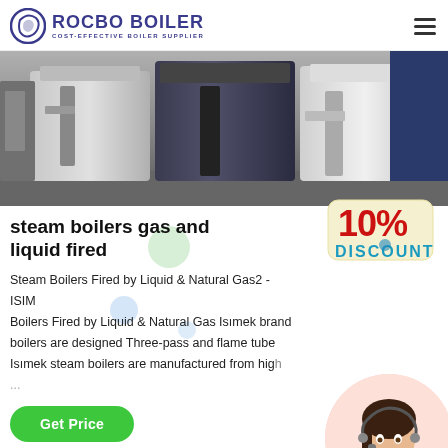ROCBO BOILER - COST-EFFECTIVE BOILER SUPPLIER
[Figure (photo): Industrial steam boilers in a facility, large grey and dark blue metal boiler units]
steam boilers gas and liquid fired
[Figure (infographic): 10% DISCOUNT badge in red and teal text on a cream/tan background]
Steam Boilers Fired by Liquid & Natural Gas2 - ISIM Boilers Fired by Liquid & Natural Gas Isimek brand boilers are designed Three-pass and flame tube boilers. Isimek steam boilers are manufactured from high...
[Figure (photo): Customer service agent woman with headset, smiling, in a circular frame with pink/peach gradient background]